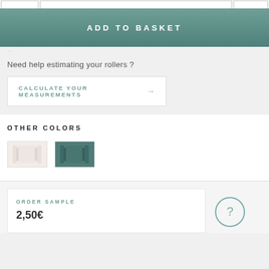[Figure (screenshot): Top navigation tab bar, partially visible]
ADD TO BASKET
Need help estimating your rollers ?
CALCULATE YOUR MEASUREMENTS →
OTHER COLORS
[Figure (illustration): Two color swatches: cream/beige roller blind and teal/dark green roller blind]
ORDER SAMPLE
2,50€